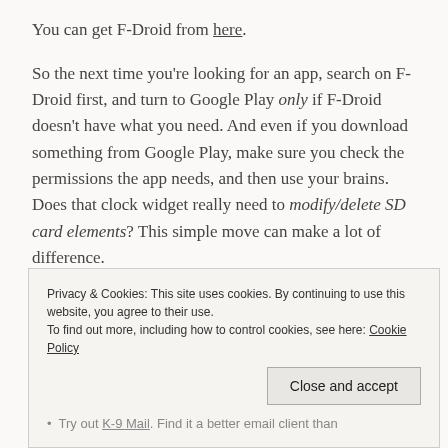You can get F-Droid from here.
So the next time you're looking for an app, search on F-Droid first, and turn to Google Play only if F-Droid doesn't have what you need. And even if you download something from Google Play, make sure you check the permissions the app needs, and then use your brains. Does that clock widget really need to modify/delete SD card elements? This simple move can make a lot of difference.
Privacy & Cookies: This site uses cookies. By continuing to use this website, you agree to their use. To find out more, including how to control cookies, see here: Cookie Policy
Close and accept
Try out K-9 Mail. Find it a better email client than